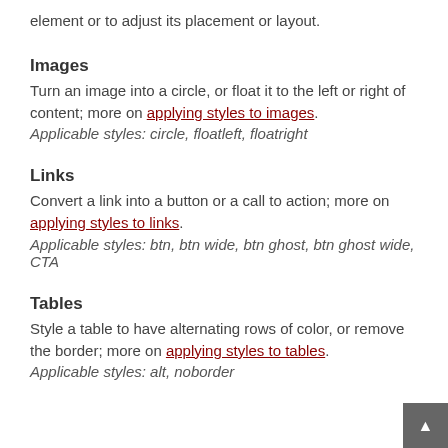element or to adjust its placement or layout.
Images
Turn an image into a circle, or float it to the left or right of content; more on applying styles to images.
Applicable styles: circle, floatleft, floatright
Links
Convert a link into a button or a call to action; more on applying styles to links.
Applicable styles: btn, btn wide, btn ghost, btn ghost wide, CTA
Tables
Style a table to have alternating rows of color, or remove the border; more on applying styles to tables.
Applicable styles: alt, noborder